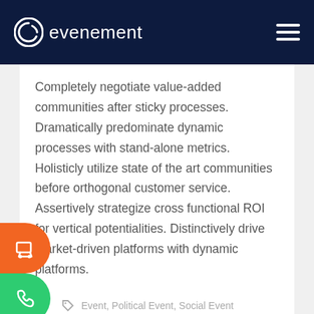evenement
Completely negotiate value-added communities after sticky processes. Dramatically predominate dynamic processes with stand-alone metrics. Holisticly utilize state of the art communities before orthogonal customer service. Assertively strategize cross functional ROI for vertical potentialities. Distinctively drive market-driven platforms with dynamic platforms.
Event, Political Event, Social Event